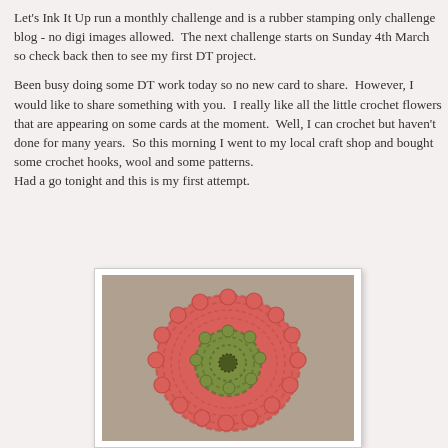Let's Ink It Up run a monthly challenge and is a rubber stamping only challenge blog - no digi images allowed.  The next challenge starts on Sunday 4th March so check back then to see my first DT project.
Been busy doing some DT work today so no new card to share.  However, I would like to share something with you.  I really like all the little crochet flowers that are appearing on some cards at the moment.  Well, I can crochet but haven't done for many years.  So this morning I went to my local craft shop and bought some crochet hooks, wool and some patterns.
Had a go tonight and this is my first attempt.
[Figure (photo): A photo of a handmade crochet flower — a pink/coral outer flower with a smaller green centre flower, placed on a neutral beige/grey background.]